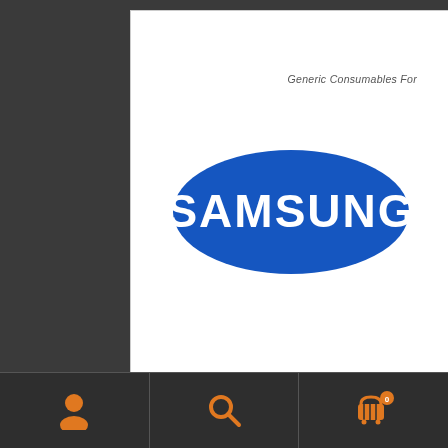[Figure (logo): Samsung logo with text 'Generic Consumables For' above it on a white background]
Generic Samsung D116L Generic
R273,00
[Figure (infographic): Bottom navigation bar with three icons: user/person icon, search/magnifying glass icon, and shopping cart icon with badge showing '0']